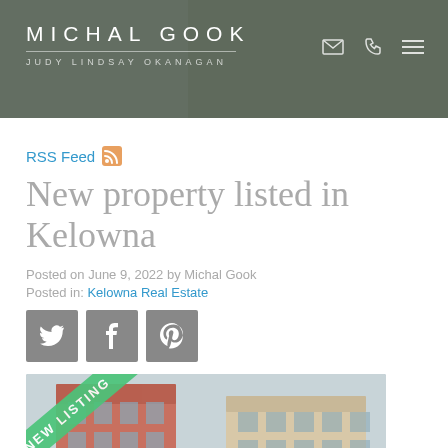MICHAL GOOK / JUDY LINDSAY OKANAGAN
RSS Feed
New property listed in Kelowna
Posted on June 9, 2022 by Michal Gook
Posted in: Kelowna Real Estate
[Figure (other): Social sharing buttons: Twitter, Facebook, Pinterest]
[Figure (photo): Exterior photo of a multi-storey residential apartment building with a NEW LISTING badge in the corner]